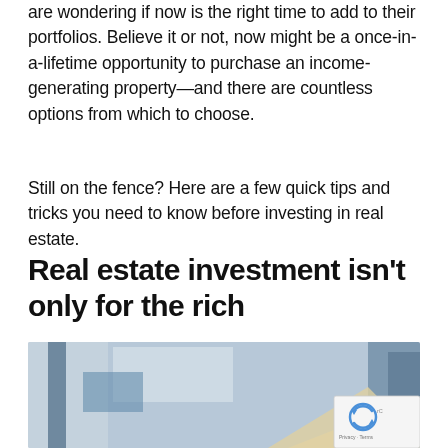are wondering if now is the right time to add to their portfolios. Believe it or not, now might be a once-in-a-lifetime opportunity to purchase an income-generating property—and there are countless options from which to choose.
Still on the fence? Here are a few quick tips and tricks you need to know before investing in real estate.
Real estate investment isn't only for the rich
[Figure (photo): Blurred photo of a house with a light-colored roof peak visible in the lower right, set against a background of blue and white building panels. A reCAPTCHA badge appears in the lower right corner.]